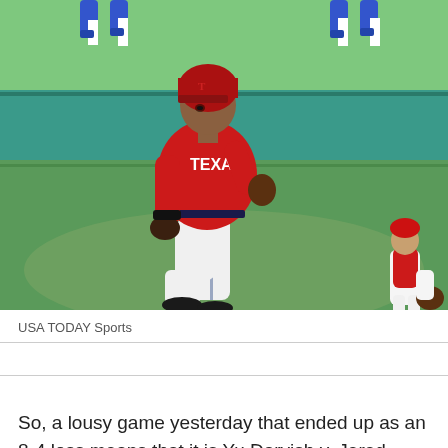[Figure (photo): A Texas Rangers baseball player in a red uniform and red helmet running on the field, with a green outfield wall in the background and another player visible in the far right wearing a white and red uniform.]
USA TODAY Sports
So, a lousy game yesterday that ended up as an 8-4 loss means that it is Yu Darvish v. Jered Weaver this